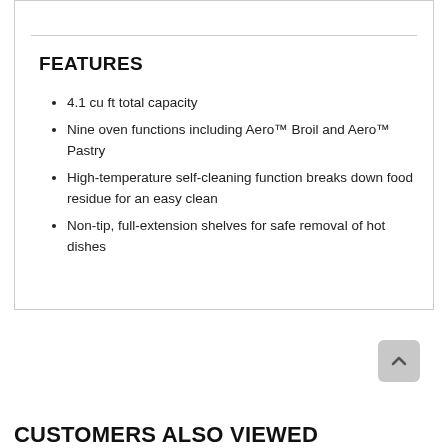FEATURES
4.1 cu ft total capacity
Nine oven functions including Aero™ Broil and Aero™ Pastry
High-temperature self-cleaning function breaks down food residue for an easy clean
Non-tip, full-extension shelves for safe removal of hot dishes
CUSTOMERS ALSO VIEWED